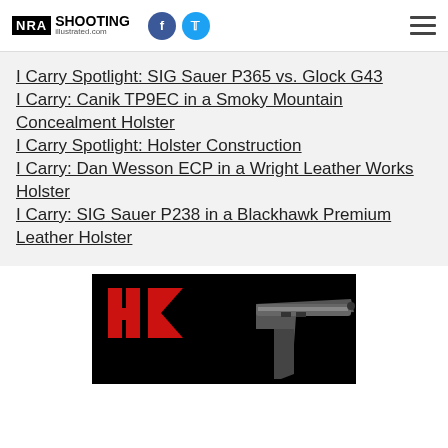NRA Shooting Illustrated
I Carry Spotlight: SIG Sauer P365 vs. Glock G43
I Carry: Canik TP9EC in a Smoky Mountain Concealment Holster
I Carry Spotlight: Holster Construction
I Carry: Dan Wesson ECP in a Wright Leather Works Holster
I Carry: SIG Sauer P238 in a Blackhawk Premium Leather Holster
[Figure (photo): HK (Heckler & Koch) advertisement showing the HK logo in red on a black background with a handgun image]